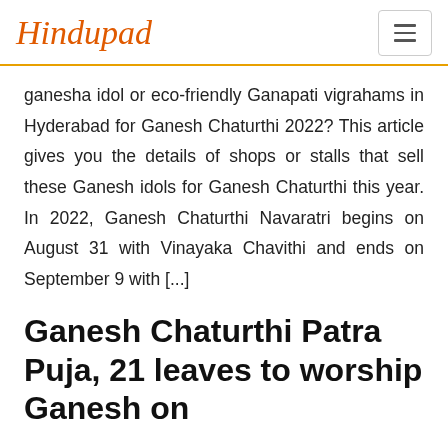Hindupad
ganesha idol or eco-friendly Ganapati vigrahams in Hyderabad for Ganesh Chaturthi 2022? This article gives you the details of shops or stalls that sell these Ganesh idols for Ganesh Chaturthi this year. In 2022, Ganesh Chaturthi Navaratri begins on August 31 with Vinayaka Chavithi and ends on September 9 with [...]
Ganesh Chaturthi Patra Puja, 21 leaves to worship Ganesh on